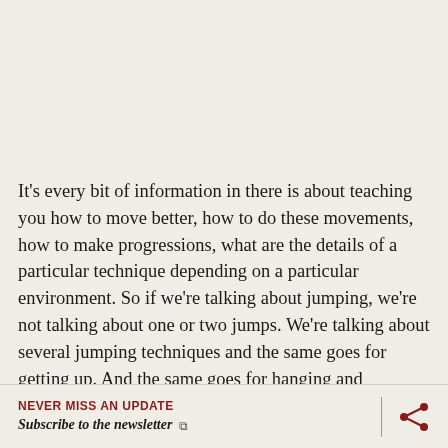It's every bit of information in there is about teaching you how to move better, how to do these movements, how to make progressions, what are the details of a particular technique depending on a particular environment. So if we're talking about jumping, we're not talking about one or two jumps. We're talking about several jumping techniques and the same goes for getting up. And the same goes for hanging and climbing and all of these other skills. So it's
NEVER MISS AN UPDATE
Subscribe to the newsletter